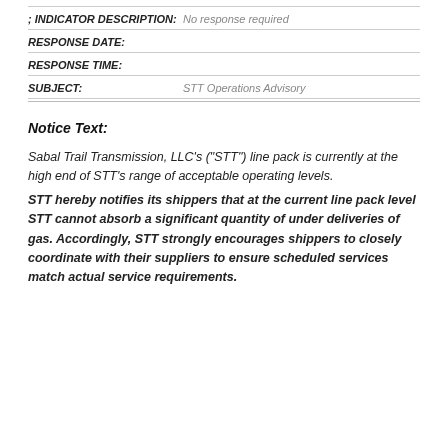; INDICATOR DESCRIPTION: No response required
RESPONSE DATE:
RESPONSE TIME:
SUBJECT: STT Operations Advisory
Notice Text:
Sabal Trail Transmission, LLC's ("STT") line pack is currently at the high end of STT’s range of acceptable operating levels. STT hereby notifies its shippers that at the current line pack level STT cannot absorb a significant quantity of under deliveries of gas. Accordingly, STT strongly encourages shippers to closely coordinate with their suppliers to ensure scheduled services match actual service requirements.